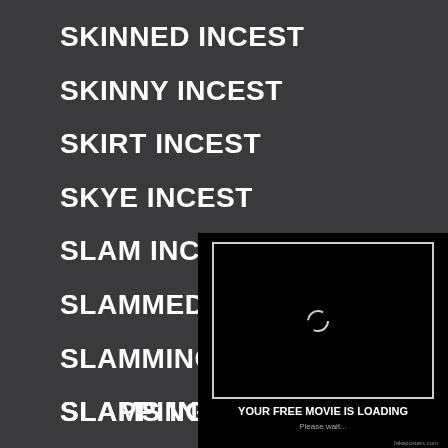SKINNED INCEST
SKINNY INCEST
SKIRT INCEST
SKYE INCEST
SLAM INCEST
SLAMMED INC[EST]
SLAMMING INC[EST]
SLAMS INCE[ST]
SLAPPING INCEST
[Figure (screenshot): A black video player window with a loading spinner in the center, white border rectangle inside. Below the player: 'YOUR FREE MOVIE IS LOADING' in white bold text, 'Please wait...' in smaller text below, and 'fakeposters.com' in the bottom right corner.]